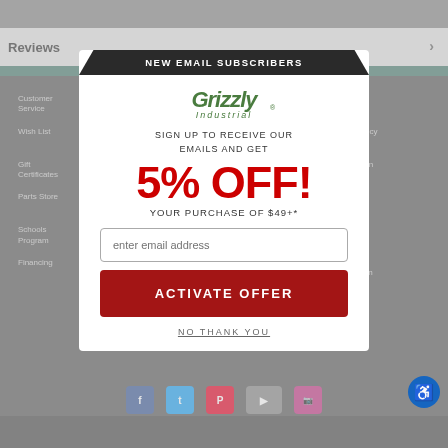[Figure (screenshot): Background of a retail website (Grizzly Industrial) showing navigation links in a dark grid layout with social media icons at the bottom]
[Figure (infographic): Email signup modal popup with Grizzly Industrial logo, offering 5% OFF on purchase of $49+* for new email subscribers, with email input field, ACTIVATE OFFER button, and NO THANK YOU link]
NEW EMAIL SUBSCRIBERS
SIGN UP TO RECEIVE OUR EMAILS AND GET
5% OFF!
YOUR PURCHASE OF $49+*
enter email address
ACTIVATE OFFER
NO THANK YOU